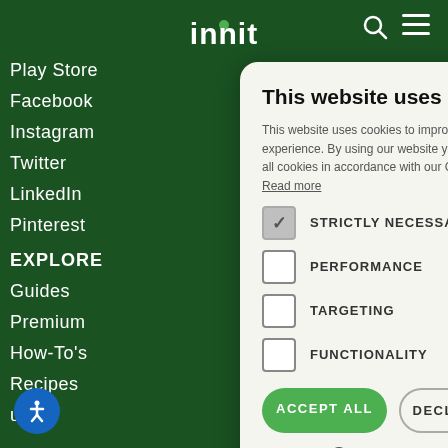[Figure (screenshot): Innit website header with green background, logo, search and menu icons]
Play Store
Facebook
Instagram
Twitter
LinkedIn
Pinterest
EXPLORE
Guides
Premium
How-To's
Recipes
ucts
This website uses cookies
This website uses cookies to improve user experience. By using our website you consent to all cookies in accordance with our Cookie Policy. Read more
STRICTLY NECESSARY
PERFORMANCE
TARGETING
FUNCTIONALITY
ACCEPT ALL
DECLINE ALL
SHOW DETAILS